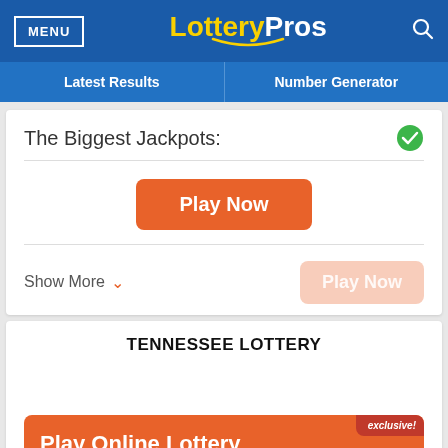MENU | LotteryPros | search
Latest Results | Number Generator
The Biggest Jackpots:
Play Now
Show More
TENNESSEE LOTTERY
Play Online Lottery